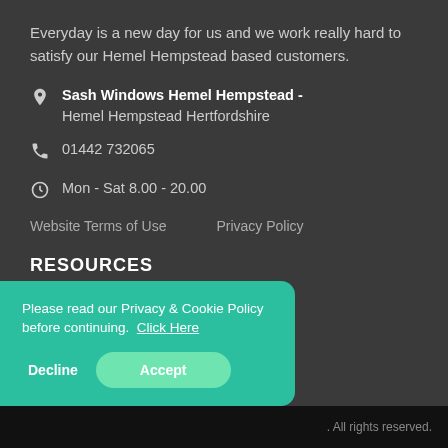Everyday is a new day for us and we work really hard to satisfy our Hemel Hempstead based customers.
Sash Windows Hemel Hempstead - Hemel Hempstead Hertfordshire
01442 732065
Mon - Sat 8.00 - 20.00
Website Terms of Use
Privacy Policy
RESOURCES
https://skiphire-hemel-hempstead.co.uk
Please read our Privacy & Cookie Policy before continuing. Click Here
Decline
Accept
. All rights reserved.